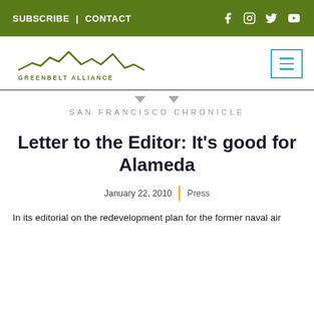SUBSCRIBE | CONTACT
[Figure (logo): Greenbelt Alliance mountain logo with text GREENBELT ALLIANCE]
SAN FRANCISCO CHRONICLE
Letter to the Editor: It’s good for Alameda
January 22, 2010 | Press
In its editorial on the redevelopment plan for the former naval air